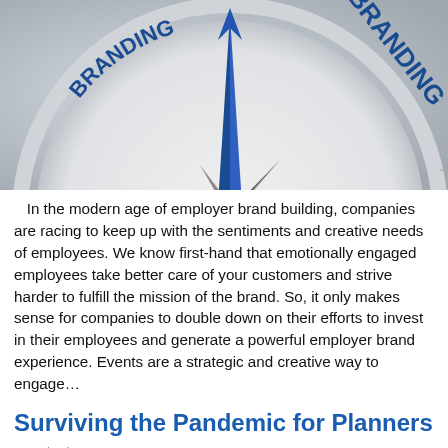[Figure (photo): Close-up of a compass with blue arrow needle pointing upward, with text 'BRANDING EMPLOYER' visible on the compass face, on a light gray background.]
In the modern age of employer brand building, companies are racing to keep up with the sentiments and creative needs of employees. We know first-hand that emotionally engaged employees take better care of your customers and strive harder to fulfill the mission of the brand. So, it only makes sense for companies to double down on their efforts to invest in their employees and generate a powerful employer brand experience. Events are a strategic and creative way to engage…
Surviving the Pandemic for Planners
2021/10/18
[Figure (photo): Bottom portion of an image, partially visible, showing a person in a dark suit against a light background.]